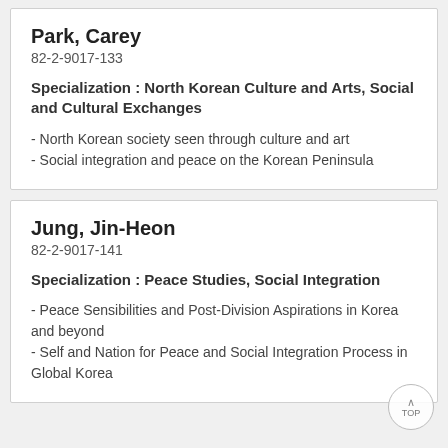Park, Carey
82-2-9017-133
Specialization : North Korean Culture and Arts, Social and Cultural Exchanges
- North Korean society seen through culture and art
- Social integration and peace on the Korean Peninsula
Jung, Jin-Heon
82-2-9017-141
Specialization : Peace Studies, Social Integration
- Peace Sensibilities and Post-Division Aspirations in Korea and beyond
- Self and Nation for Peace and Social Integration Process in Global Korea